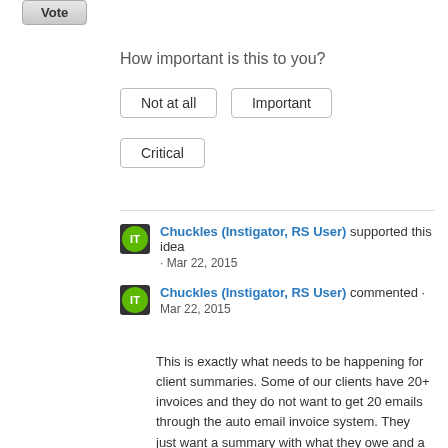Vote
How important is this to you?
Not at all
Important
Critical
Chuckles (Instigator, RS User) supported this idea · Mar 22, 2015
Chuckles (Instigator, RS User) commented · Mar 22, 2015
This is exactly what needs to be happening for client summaries. Some of our clients have 20+ invoices and they do not want to get 20 emails through the auto email invoice system. They just want a summary with what they owe and a breakdown of invoices that created the total. If they want to research the invoice, they could go to their client portal and check out the invoice.